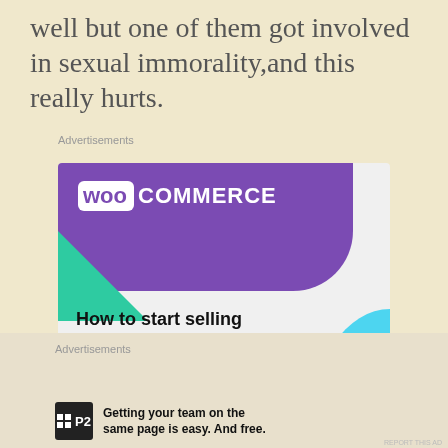well but one of them got involved in sexual immorality,and this really hurts.
Advertisements
[Figure (illustration): WooCommerce advertisement banner showing purple header with WooCommerce logo, green triangle shape, blue quarter-circle shape, text 'How to start selling subscriptions online', and a purple 'Start a new store' button]
Advertisements
[Figure (illustration): P2 advertisement with P2 logo on dark background and text 'Getting your team on the same page is easy. And free.']